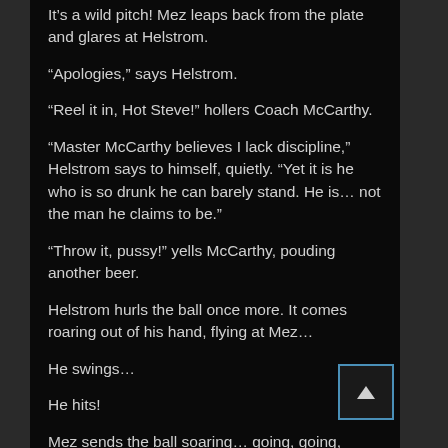It's a wild pitch! Mez leaps back from the plate and glares at Helstrom.
“Apologies,” says Helstrom.
“Reel it in, Hot Steve!” hollers Coach McCarthy.
“Master McCarthy believes I lack discipline,” Helstrom says to himself, quietly. “Yet it is he who is so drunk he can barely stand. He is… not the man he claims to be.”
“Throw it, pussy!” yells McCarthy, pouding another beer.
Helstrom hurls the ball once more. It comes roaring out of his hand, flying at Mez…
He swings…
He hits!
Mez sends the ball soaring… going, going, gone!